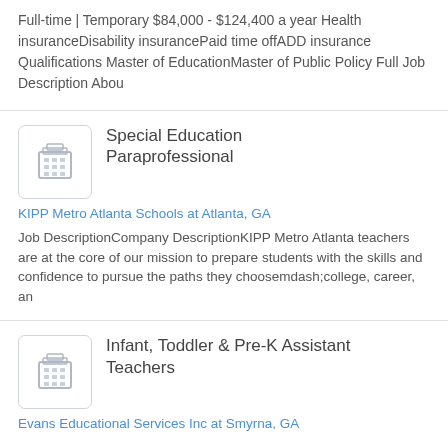Full-time | Temporary $84,000 - $124,400 a year Health insuranceDisability insurancePaid time offADD insurance Qualifications Master of EducationMaster of Public Policy Full Job Description Abou
[Figure (illustration): Building/company icon placeholder]
Special Education Paraprofessional
KIPP Metro Atlanta Schools at Atlanta, GA
Job DescriptionCompany DescriptionKIPP Metro Atlanta teachers are at the core of our mission to prepare students with the skills and confidence to pursue the paths they choosemdash;college, career, an
[Figure (illustration): Building/company icon placeholder]
Infant, Toddler & Pre-K Assistant Teachers
Evans Educational Services Inc at Smyrna, GA